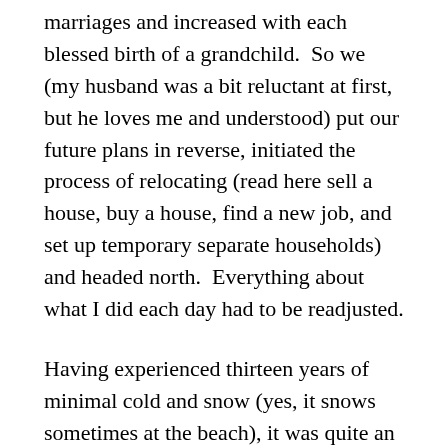marriages and increased with each blessed birth of a grandchild. So we (my husband was a bit reluctant at first, but he loves me and understood) put our future plans in reverse, initiated the process of relocating (read here sell a house, buy a house, find a new job, and set up temporary separate households) and headed north. Everything about what I did each day had to be readjusted.
Having experienced thirteen years of minimal cold and snow (yes, it snows sometimes at the beach), it was quite an adjustment as winter arrived. It certainly wasn't my first northeast December-to-March, but my blood was quite used to